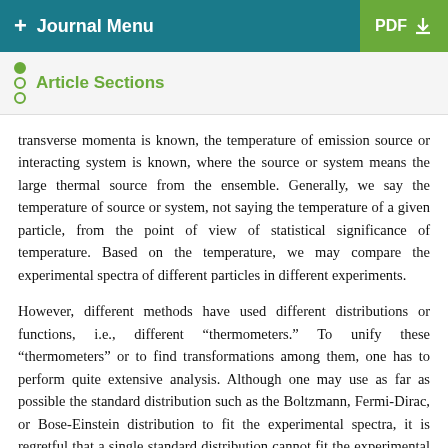+ Journal Menu | PDF
Article Sections
transverse momenta is known, the temperature of emission source or interacting system is known, where the source or system means the large thermal source from the ensemble. Generally, we say the temperature of source or system, not saying the temperature of a given particle, from the point of view of statistical significance of temperature. Based on the temperature, we may compare the experimental spectra of different particles in different experiments.
However, different methods have used different distributions or functions, i.e., different “thermometers.” To unify these “thermometers” or to find transformations among them, one has to perform quite extensive analysis. Although one may use as far as possible the standard distribution such as the Boltzmann, Fermi-Dirac, or Bose-Einstein distribution to fit the experimental spectra, it is regretful that a single standard distribution cannot fit the experimental spectra very well in general. Naturally, one may use a two-, three-, or even multicomponent standard